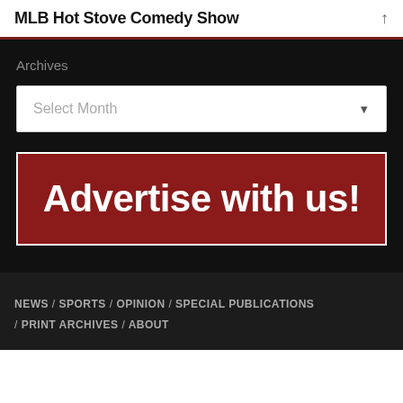MLB Hot Stove Comedy Show
Archives
Select Month
[Figure (illustration): Red banner advertisement with white bold text reading 'Advertise with us!']
NEWS / SPORTS / OPINION / SPECIAL PUBLICATIONS / PRINT ARCHIVES / ABOUT